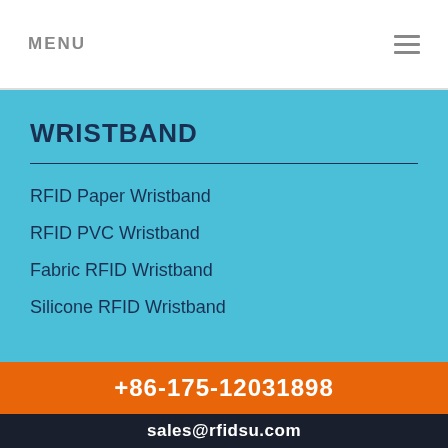MENU
WRISTBAND
RFID Paper Wristband
RFID PVC Wristband
Fabric RFID Wristband
Silicone RFID Wristband
+86-175-12031898
sales@rfidsu.com